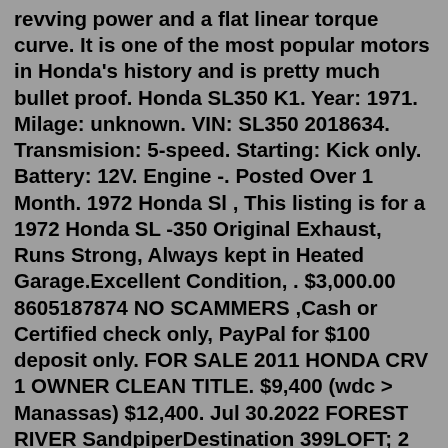revving power and a flat linear torque curve. It is one of the most popular motors in Honda's history and is pretty much bullet proof. Honda SL350 K1. Year: 1971. Milage: unknown. VIN: SL350 2018634. Transmision: 5-speed. Starting: Kick only. Battery: 12V. Engine -. Posted Over 1 Month. 1972 Honda Sl , This listing is for a 1972 Honda SL -350 Original Exhaust, Runs Strong, Always kept in Heated Garage.Excellent Condition, . $3,000.00 8605187874 NO SCAMMERS ,Cash or Certified check only, PayPal for $100 deposit only. FOR SALE 2011 HONDA CRV 1 OWNER CLEAN TITLE. $9,400 (wdc > Manassas) $12,400. Jul 30.2022 FOREST RIVER SandpiperDestination 399LOFT; 2 BED+ WARRANTY 4EVER. $79,995 (TRADES WELCOME!) $11,000. Jul 29. Honda. Used "This is a used part and not perfect. It is dirty, light surface rust, and shows signs of use. It should clean up well and be usable." Brand: Manufacturer Part Number: CB350. Condition: 1972 Honda CB350 Twin kick